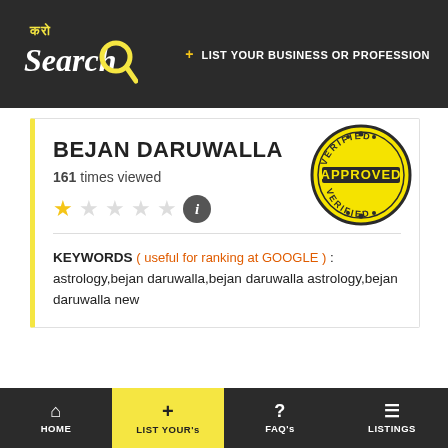करो Search — + LIST YOUR BUSINESS OR PROFESSION
BEJAN DARUWALLA
161 times viewed
[Figure (other): Star rating showing 1 out of 5 stars filled in yellow, followed by an info icon]
[Figure (other): Verified Approved stamp — circular yellow badge with 'VERIFIED' on top arc, 'APPROVED' in bold center, 'VERIFIED' on bottom arc, with decorative dots]
KEYWORDS ( useful for ranking at GOOGLE ) : astrology,bejan daruwalla,bejan daruwalla astrology,bejan daruwalla new
HOME  LIST YOUR's  FAQ's  LISTINGS